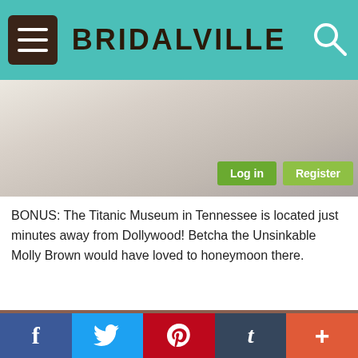BRIDALVILLE
[Figure (photo): Partial photo showing a person in white clothing, partially visible, with Log in and Register buttons overlaid]
BONUS: The Titanic Museum in Tennessee is located just minutes away from Dollywood! Betcha the Unsinkable Molly Brown would have loved to honeymoon there.
[Figure (photo): Photo of a woman with blonde hair holding a hammer next to a 'Welcome To Dollywood' sign]
f  Twitter  p  t  +